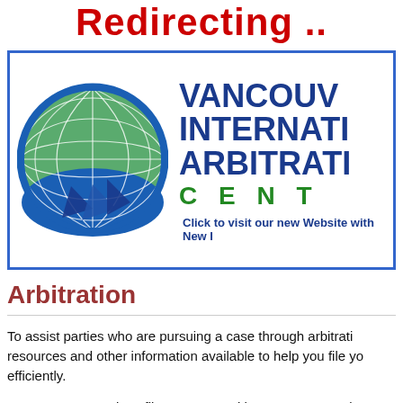Redirecting ..
[Figure (logo): Vancouver International Arbitration Centre globe logo with blue and green world globe graphic, alongside organization name text: VANCOUVER INTERNATIONAL ARBITRATION CENTRE. Below: 'Click to visit our new Website with New']
Arbitration
To assist parties who are pursuing a case through arbitration, resources and other information available to help you file your case efficiently.
Once you are ready to file your case with BCICAC, you wi